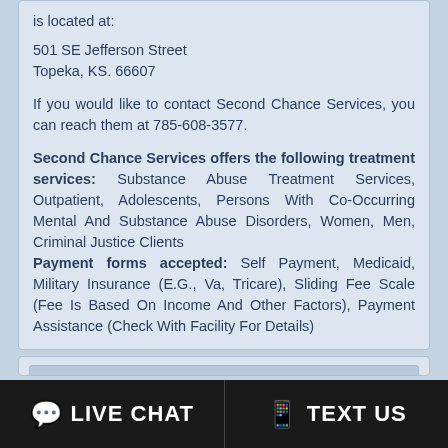is located at:

501 SE Jefferson Street
Topeka, KS. 66607

If you would like to contact Second Chance Services, you can reach them at 785-608-3577.

Second Chance Services offers the following treatment services: Substance Abuse Treatment Services, Outpatient, Adolescents, Persons With Co-Occurring Mental And Substance Abuse Disorders, Women, Men, Criminal Justice Clients
Payment forms accepted: Self Payment, Medicaid, Military Insurance (E.G., Va, Tricare), Sliding Fee Scale (Fee Is Based On Income And Other Factors), Payment Assistance (Check With Facility For Details)
Topeka Treatment Center LLC
21.9 miles from Lawrence, Kansas
Topeka Treatment Center LLC is a Drug and Alcohol Treatment Program that is located at:
LIVE CHAT   TEXT US